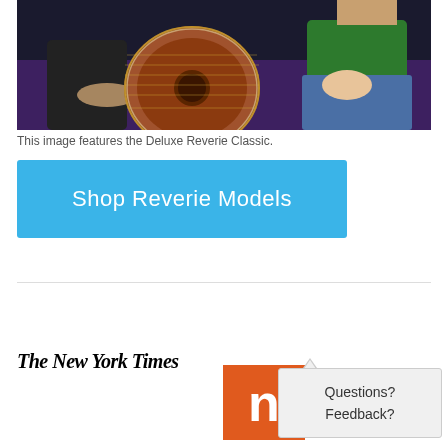[Figure (photo): Two people sitting on a couch. One person holds a large round wooden instrument (dulcimer/lute). Person on left wears dark clothes, person on right wears green top and jeans.]
This image features the Deluxe Reverie Classic.
Shop Reverie Models
[Figure (logo): The New York Times logo in italic serif font]
[Figure (logo): NBC logo - orange square with white letter n]
Questions?
Feedback?